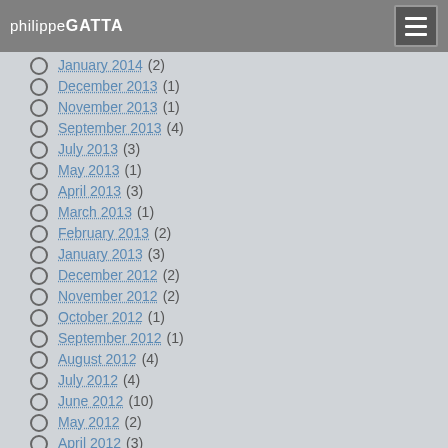philippeGATTA
February 2014 (1)
January 2014 (2)
December 2013 (1)
November 2013 (1)
September 2013 (4)
July 2013 (3)
May 2013 (1)
April 2013 (3)
March 2013 (1)
February 2013 (2)
January 2013 (3)
December 2012 (2)
November 2012 (2)
October 2012 (1)
September 2012 (1)
August 2012 (4)
July 2012 (4)
June 2012 (10)
May 2012 (2)
April 2012 (3)
March 2012 (3)
February 2012 (4)
January 2012 (6)